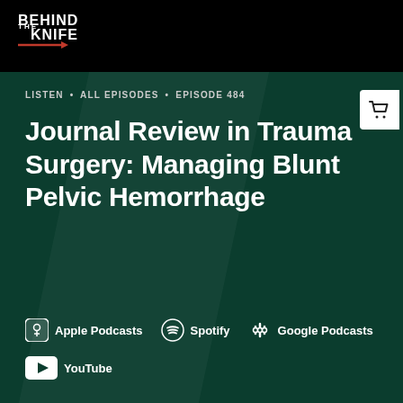[Figure (logo): Behind The Knife podcast logo — white bold text on black background with red knife line]
LISTEN • ALL EPISODES • EPISODE 484
Journal Review in Trauma Surgery: Managing Blunt Pelvic Hemorrhage
Apple Podcasts  Spotify  Google Podcasts
YouTube